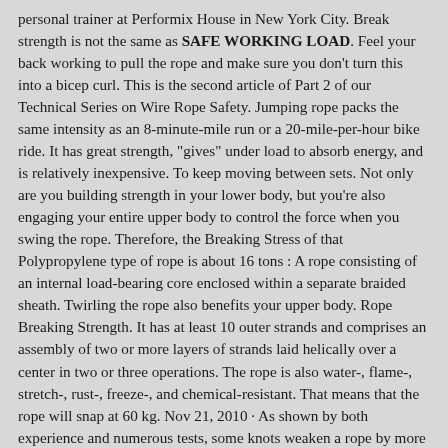personal trainer at Performix House in New York City. Break strength is not the same as SAFE WORKING LOAD. Feel your back working to pull the rope and make sure you don't turn this into a bicep curl. This is the second article of Part 2 of our Technical Series on Wire Rope Safety. Jumping rope packs the same intensity as an 8-minute-mile run or a 20-mile-per-hour bike ride. It has great strength, "gives" under load to absorb energy, and is relatively inexpensive. To keep moving between sets. Not only are you building strength in your lower body, but you're also engaging your entire upper body to control the force when you swing the rope. Therefore, the Breaking Stress of that Polypropylene type of rope is about 16 tons : A rope consisting of an internal load-bearing core enclosed within a separate braided sheath. Twirling the rope also benefits your upper body. Rope Breaking Strength. It has at least 10 outer strands and comprises an assembly of two or more layers of strands laid helically over a center in two or three operations. The rope is also water-, flame-, stretch-, rust-, freeze-, and chemical-resistant. That means that the rope will snap at 60 kg. Nov 21, 2010 · As shown by both experience and numerous tests, some knots weaken a rope by more than 50%, while others weaken it by less than 10%. To place more emphasis on strength, plug rope pulls into your program as a max effort exercise or heavy accessory. Study the graph "Strength Efficiency of Wire Rope Rope is a textile product and abrasion on the fibers through bending the rope, tying knots, running it over